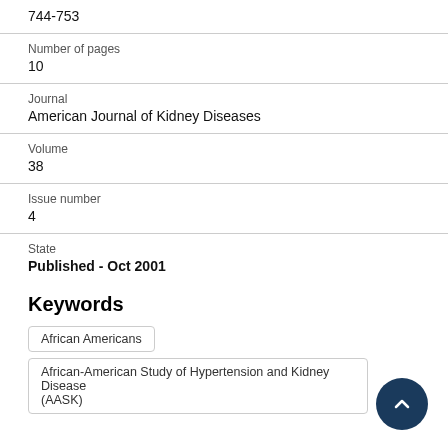744-753
Number of pages
10
Journal
American Journal of Kidney Diseases
Volume
38
Issue number
4
State
Published - Oct 2001
Keywords
African Americans
African-American Study of Hypertension and Kidney Disease (AASK)